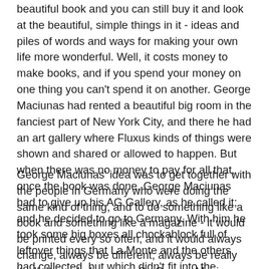beautiful book and you can still buy it and look at the beautiful, simple things in it - ideas and piles of words and ways for making your own life more wonderful. Well, it costs money to make books, and if you spend your money on one thing you can't spend it on another. George Maciunas had rented a beautiful big room in the fanciest part of New York City, and there he had an art gallery where Fluxus kinds of things were shown and shared or allowed to happen. But when there was no money to pay for all that, once the book was done, George Maciunas had to give up his AG Gallery, as he called it; and he decided to go to Germany. With him he took some big boxes all chockablock full of leftover things that La Monte and the others had collected, but which didn't fit into the Anthology.
George Maciunas' idea was to get together with the people in Germany who were doing the same kind of thing, and to do something like a book and something like a magazine - it would be printed every so often, and it would always change, always be different, always be really itself. It needed a name. So George Maciunas chose a very funny word for "change" - Fluxus. And he started taking Fluxus things to the printers in